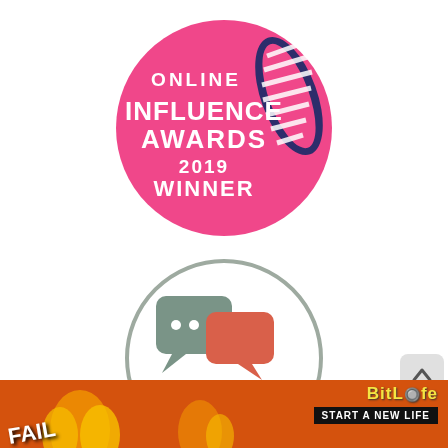[Figure (logo): Online Influence Awards 2019 Winner badge — pink circle with white bold text reading ONLINE INFLUENCE AWARDS 2019 WINNER, with a stylized striped sock/ribbon decoration in dark navy/purple on the right side]
[Figure (logo): Tots100 UK Influencer badge — grey circular border containing two speech bubble icons (grey and coral/orange) and text TOTS100 in grey/orange and UK INFLUENCER below in grey caps]
[Figure (infographic): Advertisement banner for BitLife game — orange/flame background with FAIL text, cartoon character, fire graphics, BitLife logo with pill icon, and START A NEW LIFE text on black bar]